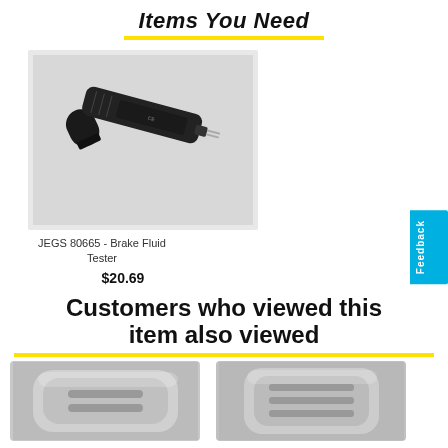Items You Need
[Figure (photo): Brake fluid tester pen tool with cap removed, showing two metal probes at the tip, dark grey/black body with CE marking and text]
JEGS 80665 - Brake Fluid Tester
$20.69
Customers who viewed this item also viewed
[Figure (photo): Two metallic car parts shown at bottom of page - left appears to be a brake caliper slider pin cover, right appears to be a similar metallic component]
[Figure (photo): Right side partial image of a metallic brake component]